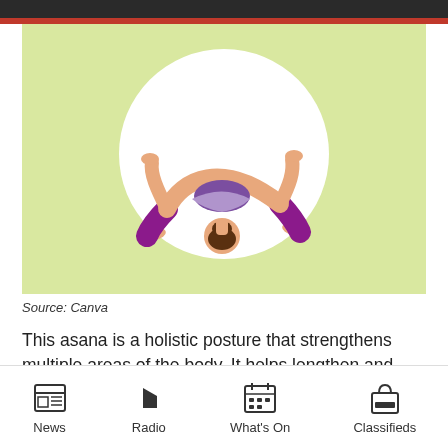[Figure (illustration): Illustration of a woman performing a yoga downward dog pose on a light green background with a white circle behind the figure. The figure wears purple/magenta leggings and a light purple top.]
Source: Canva
This asana is a holistic posture that strengthens multiple areas of the body. It helps lengthen and strengthen the muscles in our
News | Radio | What's On | Classifieds